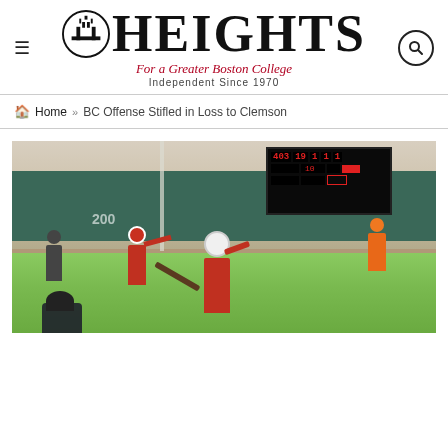The Heights — For a Greater Boston College — Independent Since 1970
Home » BC Offense Stifled in Loss to Clemson
[Figure (photo): Softball game photo showing a BC batter swinging at the plate with a Clemson fielder in the background and a scoreboard visible in the upper right showing game statistics. Players in red uniforms for BC and orange for Clemson on a green field.]